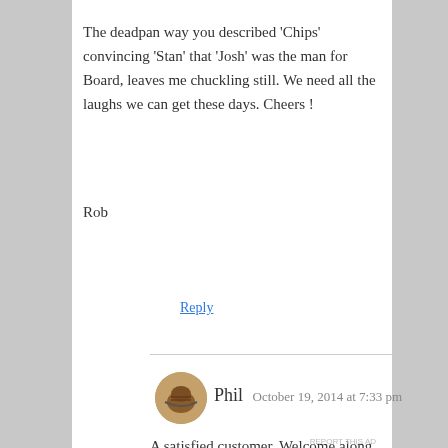The deadpan way you described 'Chips' convincing 'Stan' that 'Josh' was the man for Board, leaves me chuckling still. We need all the laughs we can get these days. Cheers !
Rob
Reply
[Figure (photo): Circular avatar image of Phil showing a hand/fist holding a rope, brownish tones]
Phil  October 19, 2014 at 7:33 pm
A satisfied customer. Welcome along sir, welcome along.
Reply
Advertisements
[Figure (other): Longreads advertisement banner with dark background, Longreads logo and tagline 'Read anything great lately?']
REPORT THIS AD